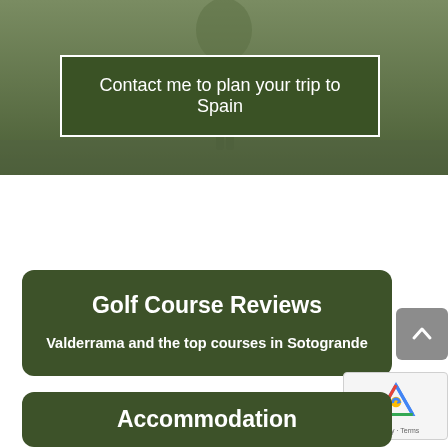[Figure (photo): Hero background photo of a golfer on a green-tinted outdoor course scene]
Contact me to plan your trip to Spain
Golf Course Reviews
Valderrama and the top courses in Sotogrande
Accommodation